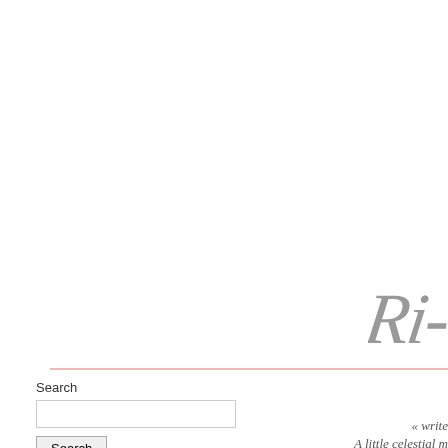[Figure (logo): Cursive/script logo text starting with 'Ri-' in gray, partially visible in upper right area]
« write
Search
A little celestial m